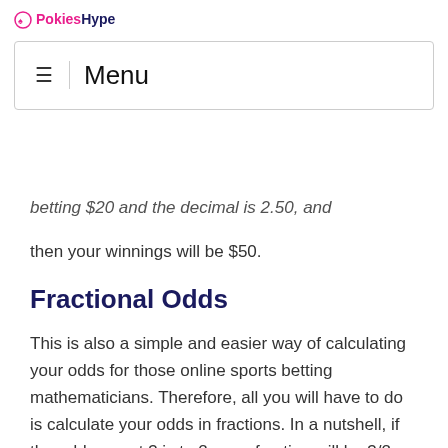PokiesHype
betting $20 and the decimal is 2.50, and then your winnings will be $50.
Fractional Odds
This is also a simple and easier way of calculating your odds for those online sports betting mathematicians. Therefore, all you will have to do is calculate your odds in fractions. In a nutshell, if the odds are at 3 is to 2, your fraction will be 3/2. Meaning, if you pace a $20 wager, you will get $30.